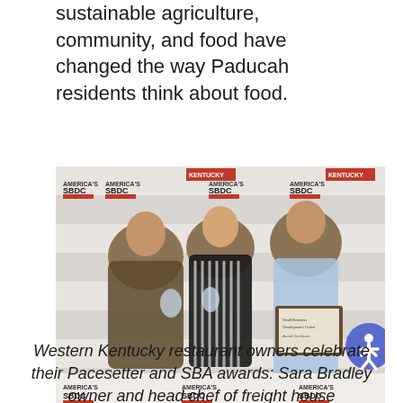sustainable agriculture, community, and food have changed the way Paducah residents think about food.
[Figure (photo): Three people posing in front of an America's SBDC Kentucky branded backdrop. Two women on the left hold glass award trophies, and a man on the right in a light blue blazer holds a framed certificate. A circular blue accessibility icon is visible at the right edge of the image.]
Western Kentucky restaurant owners celebrate their Pacesetter and SBA awards: Sara Bradley owner and head chef of freight house